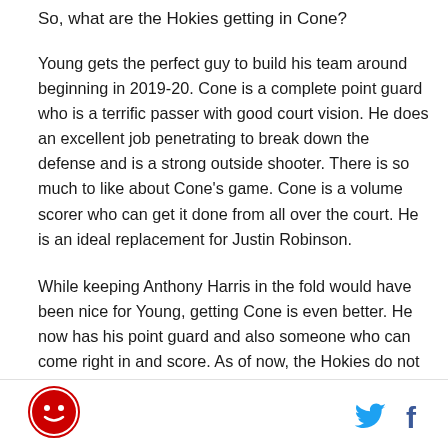So, what are the Hokies getting in Cone?
Young gets the perfect guy to build his team around beginning in 2019-20. Cone is a complete point guard who is a terrific passer with good court vision. He does an excellent job penetrating to break down the defense and is a strong outside shooter. There is so much to like about Cone’s game. Cone is a volume scorer who can get it done from all over the court. He is an ideal replacement for Justin Robinson.
While keeping Anthony Harris in the fold would have been nice for Young, getting Cone is even better. He now has his point guard and also someone who can come right in and score. As of now, the Hokies do not